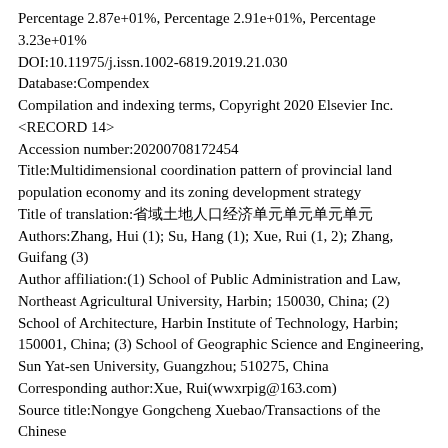Percentage 2.87e+01%, Percentage 2.91e+01%, Percentage 3.23e+01%
DOI:10.11975/j.issn.1002-6819.2019.21.030
Database:Compendex
Compilation and indexing terms, Copyright 2020 Elsevier Inc.
<RECORD 14>
Accession number:20200708172454
Title:Multidimensional coordination pattern of provincial land population economy and its zoning development strategy
Title of translation:&#30465;&#22495;&#22303;&#22320;&#20154;&#21475;&#324...
Authors:Zhang, Hui (1); Su, Hang (1); Xue, Rui (1, 2); Zhang, Guifang (3)
Author affiliation:(1) School of Public Administration and Law, Northeast Agricultural University, Harbin; 150030, China; (2) School of Architecture, Harbin Institute of Technology, Harbin; 150001, China; (3) School of Geographic Science and Engineering, Sun Yat-sen University, Guangzhou; 510275, China
Corresponding author:Xue, Rui(wwxrpig@163.com)
Source title:Nongye Gongcheng Xuebao/Transactions of the Chinese